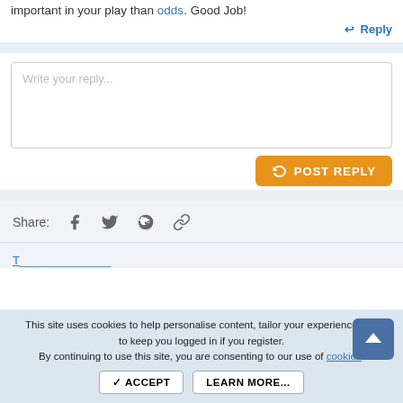important in your play than odds. Good Job!
↩ Reply
Write your reply...
POST REPLY
Share:
This site uses cookies to help personalise content, tailor your experience and to keep you logged in if you register. By continuing to use this site, you are consenting to our use of cookies.
✓ ACCEPT
LEARN MORE...